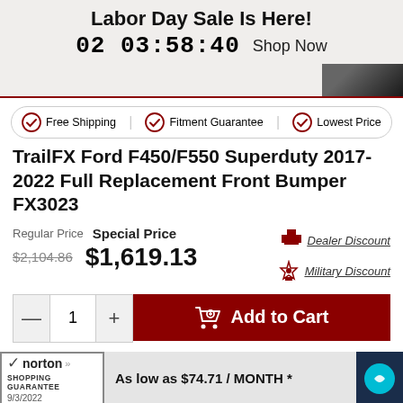Labor Day Sale Is Here! 02 03:58:40 Shop Now
[Figure (infographic): Partial product image visible in top right corner]
Free Shipping   Fitment Guarantee   Lowest Price
TrailFX Ford F450/F550 Superduty 2017-2022 Full Replacement Front Bumper FX3023
Regular Price  Special Price  $2,104.86  $1,619.13  Dealer Discount  Military Discount
1  Add to Cart
norton SHOPPING GUARANTEE 9/3/2022  As low as $74.71 / MONTH *